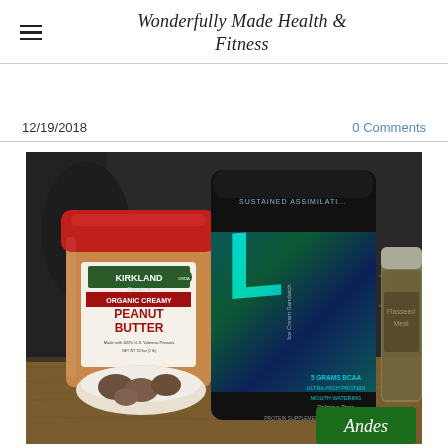Wonderfully Made Health & Fitness
12/19/2018
0 Comments
[Figure (photo): Photo of Kirkland Organic Creamy Peanut Butter jar, Level-1 protein powder (Ice Cream Sandwich flavor) black container, and a glass jar of flaxseed meal on a wooden surface with some nuts in a bowl in the foreground and an Andes mints box visible.]